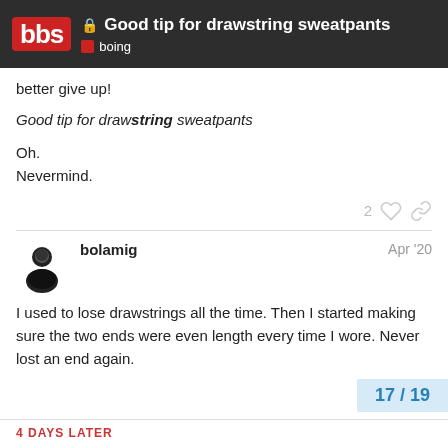Good tip for drawstring sweatpants — boing
better give up!
Good tip for drawstring sweatpants
Oh.
Nevermind.
bolamig Apr '20
I used to lose drawstrings all the time. Then I started making sure the two ends were even length every time I wore. Never lost an end again.
17 / 19
4 DAYS LATER